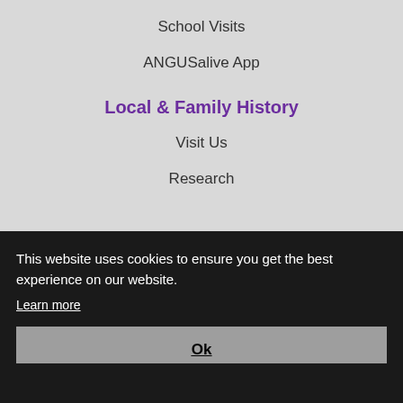School Visits
ANGUSalive App
Local & Family History
Visit Us
Research
This website uses cookies to ensure you get the best experience on our website.
Learn more
Ok